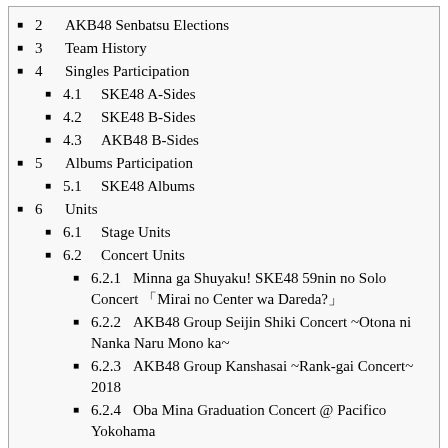2  AKB48 Senbatsu Elections
3  Team History
4  Singles Participation
4.1  SKE48 A-Sides
4.2  SKE48 B-Sides
4.3  AKB48 B-Sides
5  Albums Participation
5.1  SKE48 Albums
6  Units
6.1  Stage Units
6.2  Concert Units
6.2.1  Minna ga Shuyaku! SKE48 59nin no Solo Concert 「Mirai no Center wa Dareda?」
6.2.2  AKB48 Group Seijin Shiki Concert ~Otona ni Nanka Naru Mono ka~
6.2.3  AKB48 Group Kanshasai ~Rank-gai Concert~ 2018
6.2.4  Oba Mina Graduation Concert @ Pacifico Yokohama
6.2.5  SKE48 Summer Zepp Tour 2022
7  Gallery
Trivia